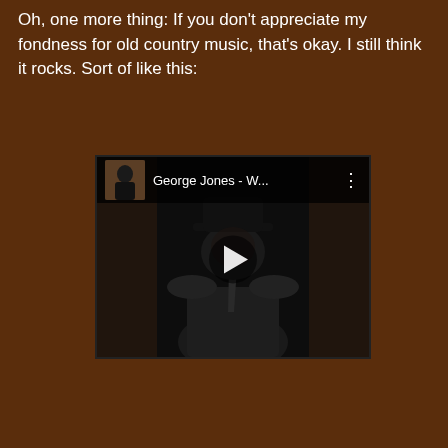Oh, one more thing:  If you don't appreciate my fondness for old country music, that's okay.  I still think it rocks.  Sort of like this:
[Figure (screenshot): YouTube video embed showing a George Jones music video. The video player has a dark header bar with a thumbnail image of George Jones on the left, the title 'George Jones - W...' in the center, and a three-dot menu icon on the right. The main video area shows a dark image of a man in a suit and tie with a play button overlay in the center.]